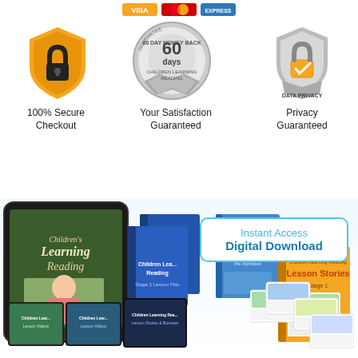[Figure (infographic): Payment card icons (Visa, Mastercard, Amex) at top of page]
[Figure (infographic): Three trust badge icons: orange security shield (100% Secure Checkout), silver 60-day money back guarantee seal (Your Satisfaction Guaranteed), silver data privacy padlock badge (Privacy Guaranteed)]
100% Secure
Checkout
Your Satisfaction
Guaranteed
Privacy
Guaranteed
[Figure (photo): Children Learning Reading product bundle showing tablet, books, DVDs, lesson cards with 'Instant Access Digital Download' badge]
Instant Access
Digital Download